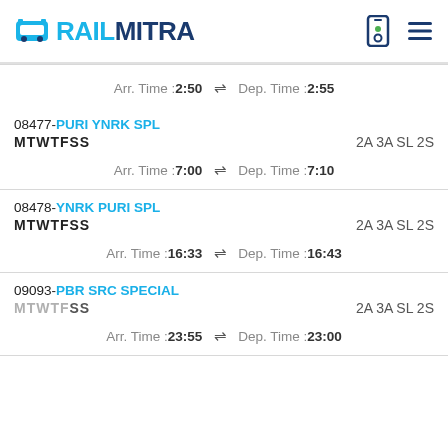RAILMITRA
Arr. Time :2:50  Dep. Time :2:55
08477-PURI YNRK SPL
MTWTFSS  2A 3A SL 2S
Arr. Time :7:00  Dep. Time :7:10
08478-YNRK PURI SPL
MTWTFSS  2A 3A SL 2S
Arr. Time :16:33  Dep. Time :16:43
09093-PBR SRC SPECIAL
MTWTFSS  2A 3A SL 2S
Arr. Time :23:55  Dep. Time :23:00